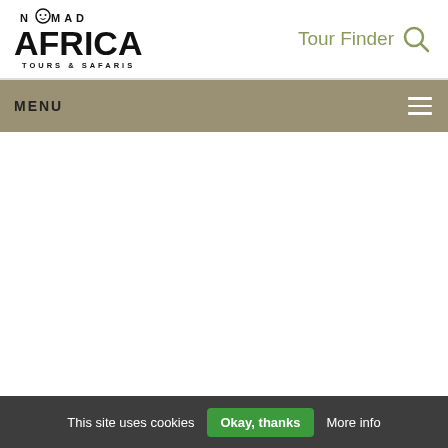[Figure (logo): Nomad Africa Tours & Safaris logo — stylized text with a face icon above the 'O' in NOMAD, large AFRICA text below, TOURS & SAFARIS subtitle]
Tour Finder 🔍
MENU ≡
This site uses cookies  Okay, thanks  More info